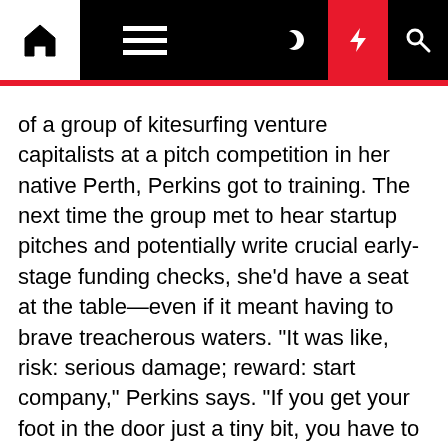Navigation bar with home, menu, dark mode, lightning/breaking news, and search icons
of a group of kitesurfing venture capitalists at a pitch competition in her native Perth, Perkins got to training. The next time the group met to hear startup pitches and potentially write crucial early-stage funding checks, she'd have a seat at the table—even if it meant having to brave treacherous waters. "It was like, risk: serious damage; reward: start company," Perkins says. "If you get your foot in the door just a tiny bit, you have to kind of wedge it all the way in." Such perseverance has long been a necessity at Canva, which began as a modest yearbook-design business in the state capital of Perth on Australia's west coast. From those remote origins, Canva has grown into a global juggernaut. Twenty-million-plus users from 190 countries use the company's "freemium" Web-based app to design everything from splashy Pinterest graphics to